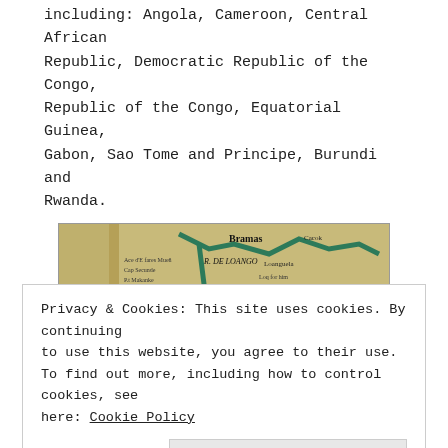including: Angola, Cameroon, Central African Republic, Democratic Republic of the Congo, Republic of the Congo, Equatorial Guinea, Gabon, Sao Tome and Principe, Burundi and Rwanda.
[Figure (map): Historical map of central Africa showing the Kingdom of Congo (R. DE CO...) region with rivers, coastal features, place names in French/Latin script, highlighted river route in green/teal.]
Privacy & Cookies: This site uses cookies. By continuing to use this website, you agree to their use.
To find out more, including how to control cookies, see here: Cookie Policy
Close and accept
wealth of mineral deposits, that benefits